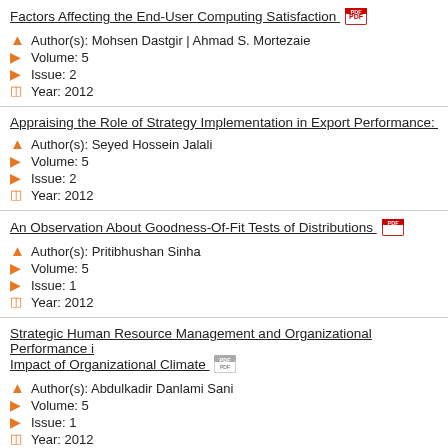Factors Affecting the End-User Computing Satisfaction
Author(s): Mohsen Dastgir | Ahmad S. Mortezaie
Volume: 5
Issue: 2
Year: 2012
Appraising the Role of Strategy Implementation in Export Performance: A C
Author(s): Seyed Hossein Jalali
Volume: 5
Issue: 2
Year: 2012
An Observation About Goodness-Of-Fit Tests of Distributions
Author(s): Pritibhushan Sinha
Volume: 5
Issue: 1
Year: 2012
Strategic Human Resource Management and Organizational Performance i Impact of Organizational Climate
Author(s): Abdulkadir Danlami Sani
Volume: 5
Issue: 1
Year: 2012